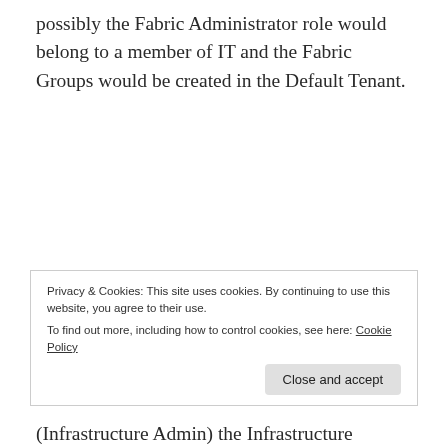possibly the Fabric Administrator role would belong to a member of IT and the Fabric Groups would be created in the Default Tenant.
To Create a Fabric Group you need to be an IAAS Administrator, this maybe confusing as there is a Fabric Administrator role and it would seem Logical that the Fabric
Privacy & Cookies: This site uses cookies. By continuing to use this website, you agree to their use.
To find out more, including how to control cookies, see here: Cookie Policy
(Infrastructure Admin) the Infrastructure